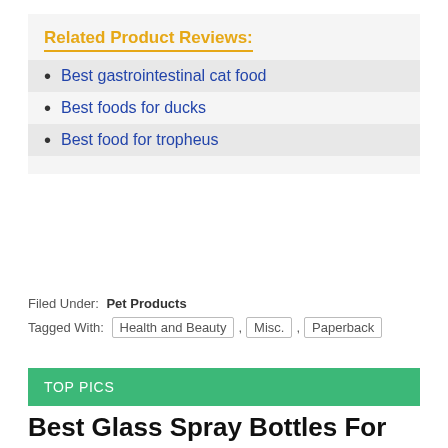Related Product Reviews:
Best gastrointestinal cat food
Best foods for ducks
Best food for tropheus
Filed Under: Pet Products
Tagged With: Health and Beauty , Misc. , Paperback
TOP PICS
Best Glass Spray Bottles For Essential Oil...